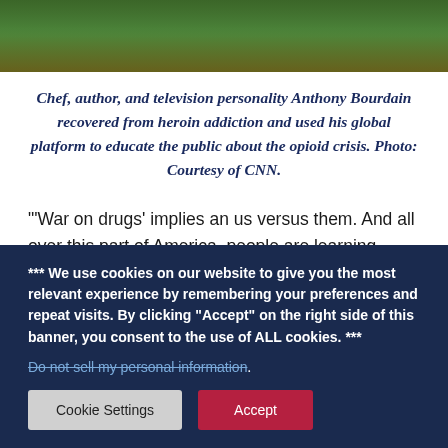[Figure (photo): Partial photo of a person standing on grass, showing the lower body/legs in jeans, green grass background visible.]
Chef, author, and television personality Anthony Bourdain recovered from heroin addiction and used his global platform to educate the public about the opioid crisis. Photo: Courtesy of CNN.
"'War on drugs' implies an us versus them. And all over this part of America, people are learning there is no them. There is only us. And we're gonna have to figure
*** We use cookies on our website to give you the most relevant experience by remembering your preferences and repeat visits. By clicking "Accept" on the right side of this banner, you consent to the use of ALL cookies. ***
Do not sell my personal information.
Cookie Settings   Accept